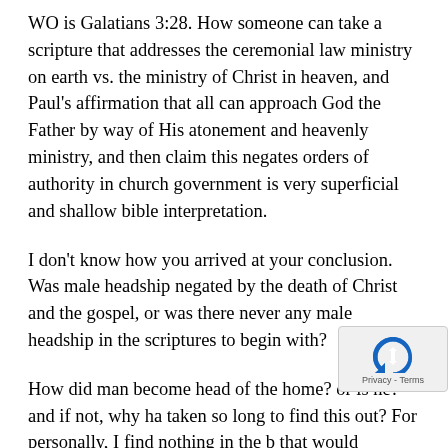WO is Galatians 3:28. How someone can take a scripture that addresses the ceremonial law ministry on earth vs. the ministry of Christ in heaven, and Paul's affirmation that all can approach God the Father by way of His atonement and heavenly ministry, and then claim this negates orders of authority in church government is very superficial and shallow bible interpretation.
I don't know how you arrived at your conclusion. Was male headship negated by the death of Christ and the gospel, or was there never any male headship in the scriptures to begin with?
How did man become head of the home? or is he? and if not, why has taken so long to find this out? For personally, I find nothing in the b that would indicate that various